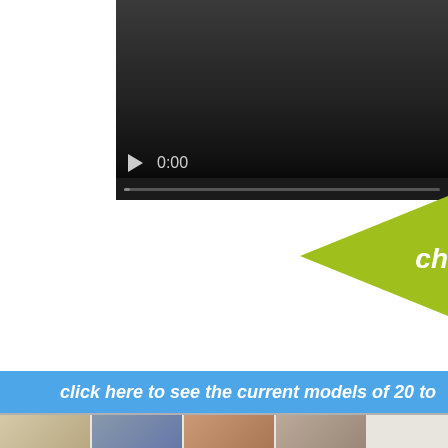[Figure (screenshot): Video player with dark/black background showing a paused video. Play button triangle icon on left, timestamp '0:00' displayed, and a progress bar at the bottom. The player is cropped showing only the right portion of the interface.]
[Figure (infographic): Green/lime colored triangular banner shape on white background, pointing left, with partial white bold italic text reading 'ch' visible on the right edge — part of a call-to-action button or label.]
[Figure (screenshot): Blue horizontal banner/button with white bold italic text reading 'click here to see the current models of 20 to' (text truncated on right).]
[Figure (photo): Partial view of what appears to be interior/furniture photographs at the bottom of the page, showing small thumbnail images cropped at the bottom edge.]